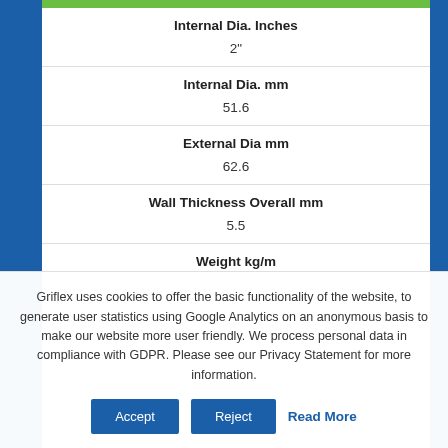| Internal Dia. Inches | Internal Dia. mm | External Dia mm | Wall Thickness Overall mm | Weight kg/m |
| --- | --- | --- | --- | --- |
| 2" |
| 51.6 |
| 62.6 |
| 5.5 |
|  |
Griflex uses cookies to offer the basic functionality of the website, to generate user statistics using Google Analytics on an anonymous basis to make our website more user friendly. We process personal data in compliance with GDPR. Please see our Privacy Statement for more information.